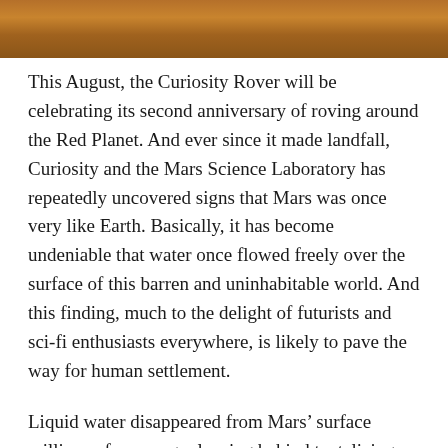[Figure (photo): Cropped image of Mars surface, reddish-brown rocky terrain, partial view at top of page]
This August, the Curiosity Rover will be celebrating its second anniversary of roving around the Red Planet. And ever since it made landfall, Curiosity and the Mars Science Laboratory has repeatedly uncovered signs that Mars was once very like Earth. Basically, it has become undeniable that water once flowed freely over the surface of this barren and uninhabitable world. And this finding, much to the delight of futurists and sci-fi enthusiasts everywhere, is likely to pave the way for human settlement.
Liquid water disappeared from Mars' surface millions of years ago, leaving behind tantalizing clues about the planet's ancient past—clues that the MSL has been deciphering for the past 22